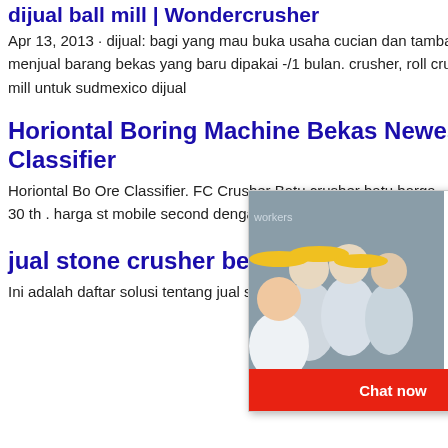dijual ball mill | Wondercrusher
Apr 13, 2013 · dijual: bagi yang mau buka usaha cucian dan tambal ban serta ganti oli, saya menjual barang bekas yang baru dipakai -/1 bulan. crusher, roll crusher, maupun ball mill emas ball mill untuk sudmexico dijual
Horiontal Boring Machine Bekas Newest Gold Ore Classifier
Horiontal Bo... Ore Classifier. FC... Crusher Batu... crusher batu... harga . coal ... stone crusher mobile cap 30 th . harga st... mobile second dengan .
[Figure (screenshot): Live chat popup overlay with construction workers image on left, LIVE CHAT red text in center, 'Click for a Free Consultation' subtitle, 'Chat now' red button and 'Chat later' black button at bottom. Also shows '24Hrs Online' red banner top right and an agent photo with headset on far right.]
jual stone crusher bekas - Indonesia penghancur
Ini adalah daftar solusi tentang jual stone... ... Gold Ore Crusher. jaw crusher in mala...